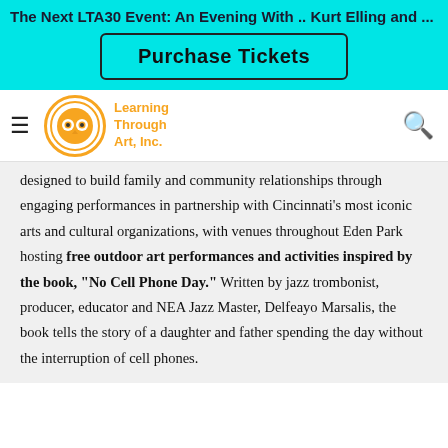The Next LTA30 Event: An Evening With .. Kurt Elling and ...
Purchase Tickets
[Figure (logo): Learning Through Art, Inc. orange circle logo with owl eyes]
designed to build family and community relationships through engaging performances in partnership with Cincinnati’s most iconic arts and cultural organizations, with venues throughout Eden Park hosting free outdoor art performances and activities inspired by the book, “No Cell Phone Day.” Written by jazz trombonist, producer, educator and NEA Jazz Master, Delfeayo Marsalis, the book tells the story of a daughter and father spending the day without the interruption of cell phones.